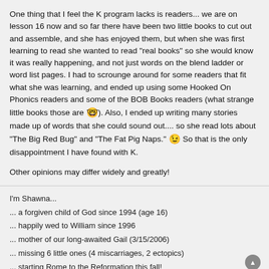One thing that I feel the K program lacks is readers... we are on lesson 16 now and so far there have been two little books to cut out and assemble, and she has enjoyed them, but when she was first learning to read she wanted to read "real books" so she would know it was really happening, and not just words on the blend ladder or word list pages. I had to scrounge around for some readers that fit what she was learning, and ended up using some Hooked On Phonics readers and some of the BOB Books readers (what strange little books those are 🤓). Also, I ended up writing many stories made up of words that she could sound out.... so she read lots about "The Big Red Bug" and "The Fat Pig Naps." 😉 So that is the only disappointment I have found with K.
Other opinions may differ widely and greatly!
I'm Shawna...
... a forgiven child of God since 1994 (age 16)
... happily wed to William since 1996
... mother of our long-awaited Gail (3/15/2006)
... missing 6 little ones (4 miscarriages, 2 ectopics)
... starting Rome to the Reformation this fall!
MelissaB
My first time homeschooling